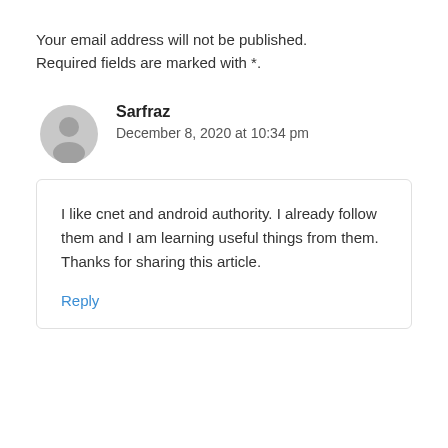Your email address will not be published. Required fields are marked with *.
Sarfraz
December 8, 2020 at 10:34 pm
I like cnet and android authority. I already follow them and I am learning useful things from them. Thanks for sharing this article.
Reply